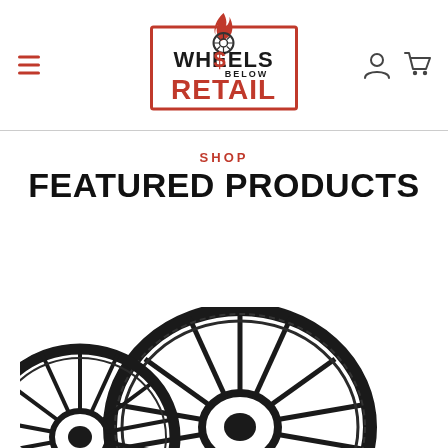Wheels Below Retail — navigation header with hamburger menu, logo, user icon, and cart icon
SHOP
FEATURED PRODUCTS
[Figure (photo): Black multi-spoke alloy wheel rim shown at an angle, partially cropped, on a white background product card]